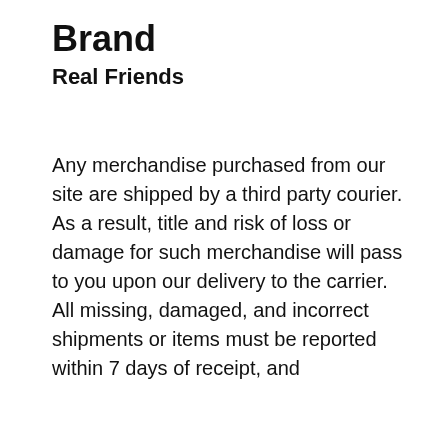Brand
Real Friends
Any merchandise purchased from our site are shipped by a third party courier. As a result, title and risk of loss or damage for such merchandise will pass to you upon our delivery to the carrier. All missing, damaged, and incorrect shipments or items must be reported within 7 days of receipt, and